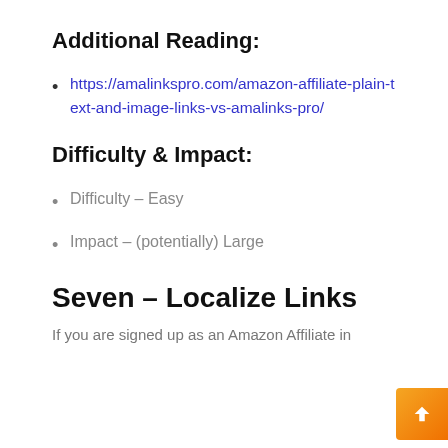Additional Reading:
https://amalinkspro.com/amazon-affiliate-plain-text-and-image-links-vs-amalinks-pro/
Difficulty & Impact:
Difficulty – Easy
Impact – (potentially) Large
Seven – Localize Links
If you are signed up as an Amazon Affiliate in